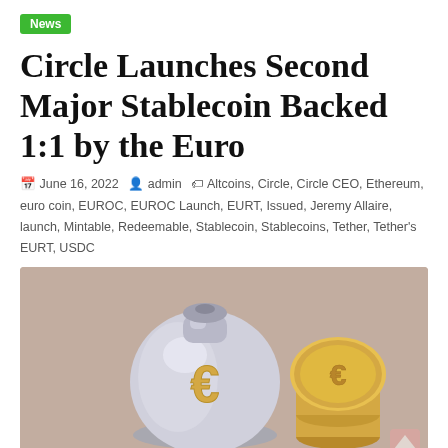News
Circle Launches Second Major Stablecoin Backed 1:1 by the Euro
June 16, 2022   admin   Altcoins, Circle, Circle CEO, Ethereum, euro coin, EUROC, EUROC Launch, EURT, Issued, Jeremy Allaire, launch, Mintable, Redeemable, Stablecoin, Stablecoins, Tether, Tether's EURT, USDC
[Figure (illustration): 3D illustration of a silver money bag with a gold Euro symbol on it, alongside stacked gold coins also bearing the Euro symbol, on a beige/taupe background.]